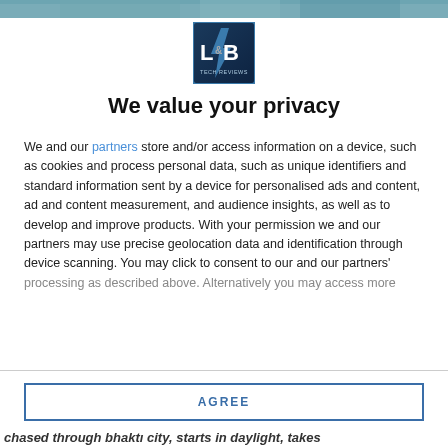[Figure (screenshot): Top banner image strip showing a partially visible photograph, appears to be people outdoors]
[Figure (logo): L&B Tech Reviews logo — square logo with blue gradient background, white letters L&B and text TECH REVIEWS below]
We value your privacy
We and our partners store and/or access information on a device, such as cookies and process personal data, such as unique identifiers and standard information sent by a device for personalised ads and content, ad and content measurement, and audience insights, as well as to develop and improve products. With your permission we and our partners may use precise geolocation data and identification through device scanning. You may click to consent to our and our partners' processing as described above. Alternatively you may access more
AGREE
MORE OPTIONS
chased through bhaktı city, starts in daylight, takes